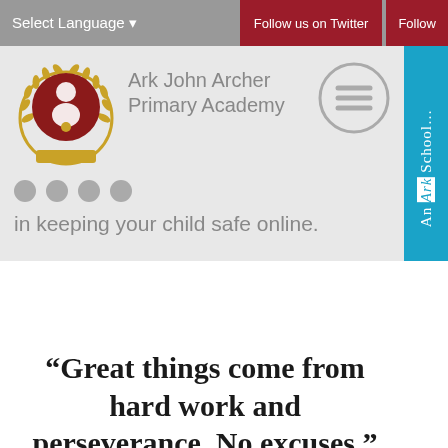Select Language ▾   Follow us on Twitter   Follow
[Figure (logo): Ark John Archer Primary Academy logo: red circular emblem with figure and laurel wreath]
Ark John Archer Primary Academy
[Figure (illustration): Hamburger menu circle icon (three horizontal lines inside a circle)]
in keeping your child safe online.
[Figure (other): An Ark School vertical sidebar label in teal/cyan]
“Great things come from hard work and perseverance. No excuses.”